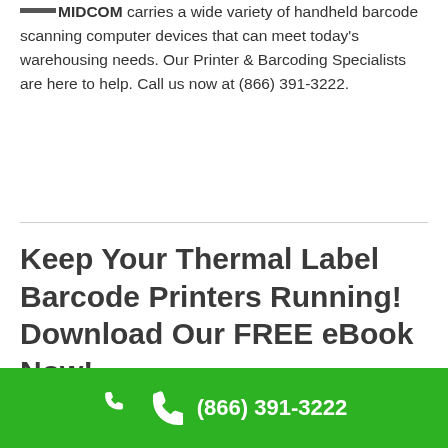MIDCOM carries a wide variety of handheld barcode scanning computer devices that can meet today's warehousing needs. Our Printer & Barcoding Specialists are here to help. Call us now at (866) 391-3222.
Keep Your Thermal Label Barcode Printers Running! Download Our FREE eBook Now!
(866) 391-3222